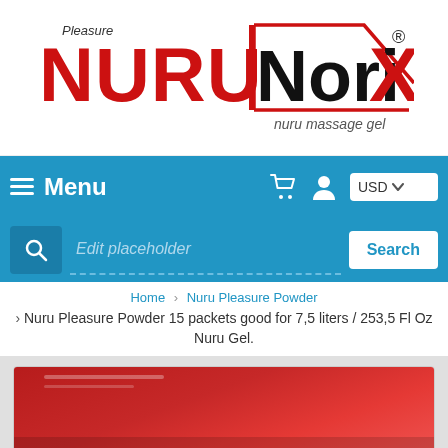[Figure (logo): Pleasure NURUNoriX nuru massage gel logo with red and black text and red geometric border design]
[Figure (screenshot): Navigation bar with hamburger menu icon, Menu text, shopping cart icon, user icon, and USD currency selector dropdown]
[Figure (screenshot): Search bar with magnifying glass icon, Edit placeholder input field, and Search button]
Home > Nuru Pleasure Powder
> Nuru Pleasure Powder 15 packets good for 7,5 liters / 253,5 Fl Oz Nuru Gel.
[Figure (photo): Product image showing a red box packaging for Nuru Pleasure Powder at bottom of page]